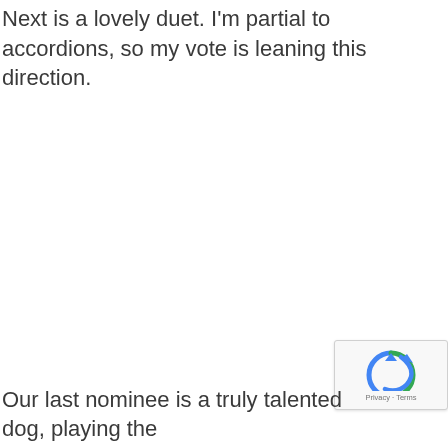Next is a lovely duet. I'm partial to accordions, so my vote is leaning this direction.
[Figure (other): reCAPTCHA privacy badge with logo, Privacy and Terms links]
Our last nominee is a truly talented dog, playing the